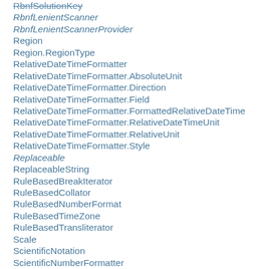RbnfSolutionKey
RbnfLenientScanner
RbnfLenientScannerProvider
Region
Region.RegionType
RelativeDateTimeFormatter
RelativeDateTimeFormatter.AbsoluteUnit
RelativeDateTimeFormatter.Direction
RelativeDateTimeFormatter.Field
RelativeDateTimeFormatter.FormattedRelativeDateTime
RelativeDateTimeFormatter.RelativeDateTimeUnit
RelativeDateTimeFormatter.RelativeUnit
RelativeDateTimeFormatter.Style
Replaceable
ReplaceableString
RuleBasedBreakIterator
RuleBasedCollator
RuleBasedNumberFormat
RuleBasedTimeZone
RuleBasedTransliterator
Scale
ScientificNotation
ScientificNumberFormatter
SearchIterator
SearchIterator.ElementComparisonType
SelectFormat
SimpleDateFormat
SimpleDateRule
SimpleFormatter